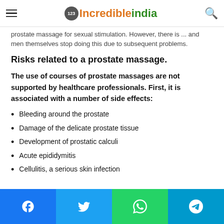123IncredibleIndia (logo with hamburger menu and search icon)
prostate massage for sexual stimulation. However, there is ... and men themselves stop doing this due to subsequent problems.
Risks related to a prostate massage.
The use of courses of prostate massages are not supported by healthcare professionals. First, it is associated with a number of side effects:
Bleeding around the prostate
Damage of the delicate prostate tissue
Development of prostatic calculi
Acute epididymitis
Cellulitis, a serious skin infection
Social share buttons: Facebook, Twitter, WhatsApp, Telegram